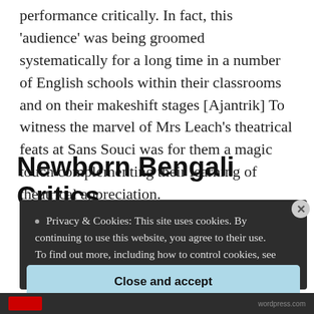performance critically. In fact, this 'audience' was being groomed systematically for a long time in a number of English schools within their classrooms and on their makeshift stages [Ajantrik] To witness the marvel of Mrs Leach's theatrical feats at Sans Souci was for them a magic touch complementing their learning of theatrical appreciation.
Newborn Bengali Critics
Privacy & Cookies: This site uses cookies. By continuing to use this website, you agree to their use.
To find out more, including how to control cookies, see here: Cookie Policy
Close and accept